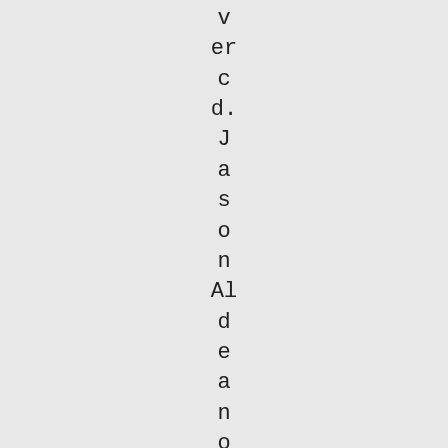vercd.JasonAldeanopenedSNL10/08/1